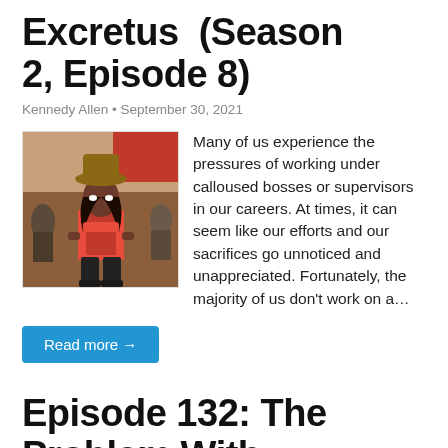Excretus (Season 2, Episode 8)
Kennedy Allen • September 30, 2021
[Figure (illustration): Animated screenshot showing a dark-skinned female character in a red cowboy outfit with a brown hat, hands on hips, with other characters in the background in a western setting.]
Many of us experience the pressures of working under calloused bosses or supervisors in our careers. At times, it can seem like our efforts and our sacrifices go unnoticed and unappreciated. Fortunately, the majority of us don't work on a…
Read more →
Episode 132: The Problem With...